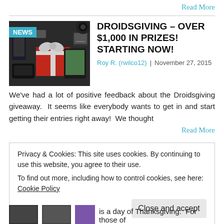Read More
[Figure (photo): Droidsgiving giveaway promotional image with gift box and electronics, with NEWS badge overlay]
DROIDSGIVING – OVER $1,000 IN PRIZES! STARTING NOW!
Roy R. (rwilco12)  |  November 27, 2015
We've had a lot of positive feedback about the Droidsgiving giveaway.  It seems like everybody wants to get in and start getting their entries right away!  We thought
Read More
Privacy & Cookies: This site uses cookies. By continuing to use this website, you agree to their use.
To find out more, including how to control cookies, see here: Cookie Policy
Close and accept
is a day of Thanksgiving.  For those of